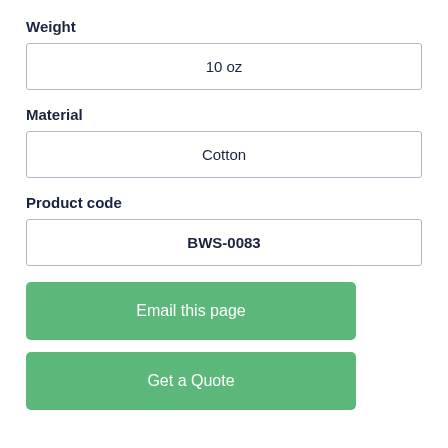Weight
| 10 oz |
Material
| Cotton |
Product code
| BWS-0083 |
Email this page
Get a Quote